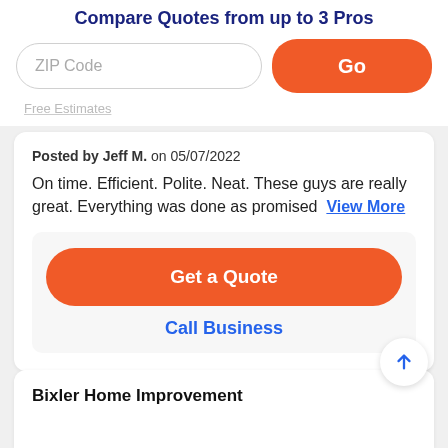Compare Quotes from up to 3 Pros
ZIP Code
Go
Free Estimates
Posted by Jeff M. on 05/07/2022
On time. Efficient. Polite. Neat. These guys are really great. Everything was done as promised   View More
Get a Quote
Call Business
Bixler Home Improvement